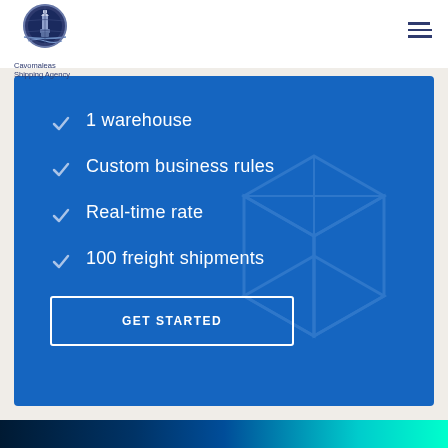[Figure (logo): Cavomaleas Shipping Agency logo — circular dark blue emblem with lighthouse/tower motif, text 'Cavomaleas Shipping Agency' below]
[Figure (screenshot): Blue pricing/feature card with checkmark list items: '1 warehouse', 'Custom business rules', 'Real-time rate', '100 freight shipments', and a 'GET STARTED' button. Box outline watermark in background.]
1 warehouse
Custom business rules
Real-time rate
100 freight shipments
[Figure (photo): Bottom strip showing teal/cyan digital/maritime image]